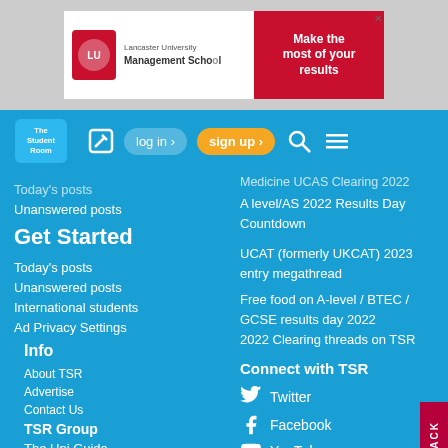[Figure (infographic): Lancaster University Management School advertisement banner with red logo, university name, and 'Make the most of your results' text on red background]
The Student Room | log in  sign up
Today's posts
Unanswered posts
Get Started
Today's posts
Unanswered posts
International students
Ad Privacy Settings
Info
About TSR
Advertise
Contact Us
TSR Group
The Uni Guide
Get Revising
Medicine UCAS Clearing 2022
A level/AS 2022 Results Day Countdown
UCAT (formerly UKCAT) 2023 entry megathread
Free food on A-level / BTEC /
GCSE results day 2022
2022 Clearing threads on TSR
Connect with TSR
Twitter
Facebook
YouTube
Instagram